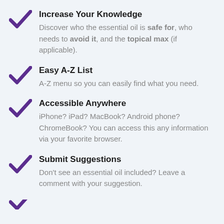Increase Your Knowledge
Discover who the essential oil is safe for, who needs to avoid it, and the topical max (if applicable).
Easy A-Z List
A-Z menu so you can easily find what you need.
Accessible Anywhere
iPhone? iPad? MacBook? Android phone? ChromeBook? You can access this any information via your favorite browser.
Submit Suggestions
Don't see an essential oil included? Leave a comment with your suggestion.